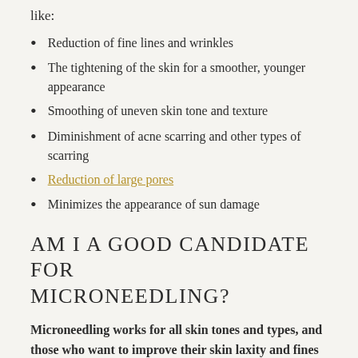like:
Reduction of fine lines and wrinkles
The tightening of the skin for a smoother, younger appearance
Smoothing of uneven skin tone and texture
Diminishment of acne scarring and other types of scarring
Reduction of large pores
Minimizes the appearance of sun damage
AM I A GOOD CANDIDATE FOR MICRONEEDLING?
Microneedling works for all skin tones and types, and those who want to improve their skin laxity and fines lines are ideal for microneedling treatments.